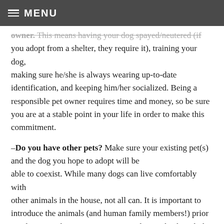MENU
owner. This means having your dog spayed/neutered (if you adopt from a shelter, they require it), training your dog, making sure he/she is always wearing up-to-date identification, and keeping him/her socialized. Being a responsible pet owner requires time and money, so be sure you are at a stable point in your life in order to make this commitment.
– Do you have other pets? Make sure your existing pet(s) and the dog you hope to adopt will be able to coexist. While many dogs can live comfortably with other animals in the house, not all can. It is important to introduce the animals (and human family members!) prior to adopting to be sure everyone gets along. Check with the rescue or shelter staff to see if the dog has been evaluated for compatibility with other animals.